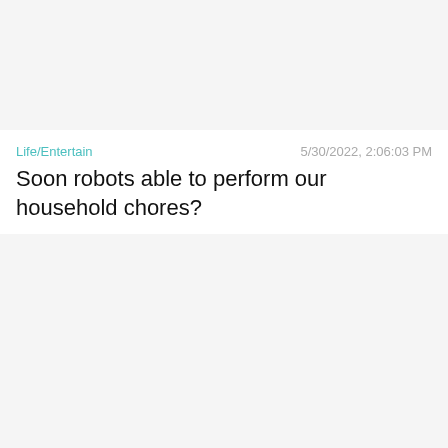[Figure (photo): Gray placeholder image block at top of page]
Life/Entertain    5/30/2022, 2:06:03 PM
Soon robots able to perform our household chores?
[Figure (photo): Gray placeholder image block in middle of page]
News/Politics    3/12/2022, 12:37:47 AM